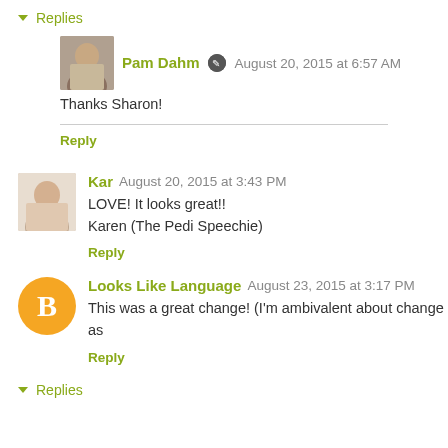▾ Replies
Pam Dahm August 20, 2015 at 6:57 AM
Thanks Sharon!
Reply
Kar August 20, 2015 at 3:43 PM
LOVE! It looks great!!
Karen (The Pedi Speechie)
Reply
Looks Like Language August 23, 2015 at 3:17 PM
This was a great change! (I'm ambivalent about change as
Reply
▾ Replies